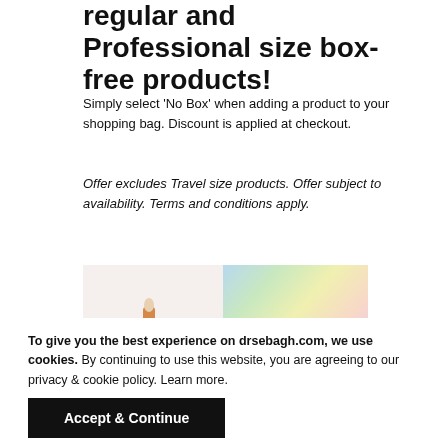regular and Professional size box-free products!
Simply select 'No Box' when adding a product to your shopping bag. Discount is applied at checkout.
Offer excludes Travel size products. Offer subject to availability. Terms and conditions apply.
[Figure (photo): Dr Sebagh branded products arranged in front of a holographic rainbow background with the Dr Sebagh logo visible]
To give you the best experience on drsebagh.com, we use cookies. By continuing to use this website, you are agreeing to our privacy & cookie policy. Learn more.
Accept & Continue